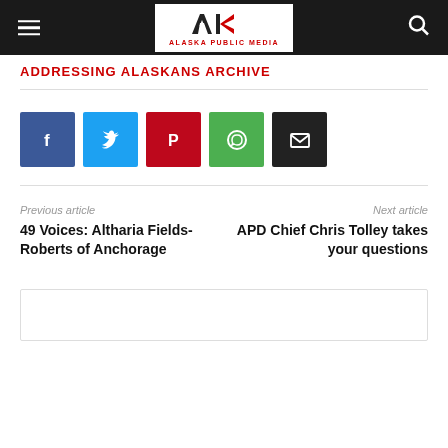Alaska Public Media — Navigation header with logo, hamburger menu, and search icon
ADDRESSING ALASKANS ARCHIVE
[Figure (infographic): Social share buttons: Facebook (blue), Twitter (cyan), Pinterest (red), WhatsApp (green), Email (black)]
Previous article: 49 Voices: Altharia Fields-Roberts of Anchorage
Next article: APD Chief Chris Tolley takes your questions